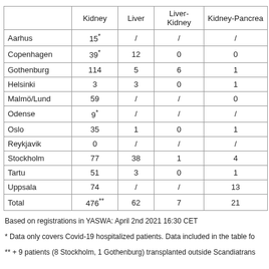|  | Kidney | Liver | Liver-Kidney | Kidney-Pancrea... |
| --- | --- | --- | --- | --- |
| Aarhus | 15* | / | / | / |
| Copenhagen | 39* | 12 | 0 | 0 |
| Gothenburg | 114 | 5 | 6 | 1 |
| Helsinki | 3 | 3 | 0 | 1 |
| Malmö/Lund | 59 | / | / | 0 |
| Odense | 9* | / | / | / |
| Oslo | 35 | 1 | 0 | 1 |
| Reykjavik | 0 | / | / | / |
| Stockholm | 77 | 38 | 1 | 4 |
| Tartu | 51 | 3 | 0 | 1 |
| Uppsala | 74 | / | / | 13 |
| Total | 476** | 62 | 7 | 21 |
Based on registrations in YASWA: April 2nd 2021 16:30 CET
* Data only covers Covid-19 hospitalized patients. Data included in the table fo...
** + 9 patients (8 Stockholm, 1 Gothenburg) transplanted outside Scandiatrans...